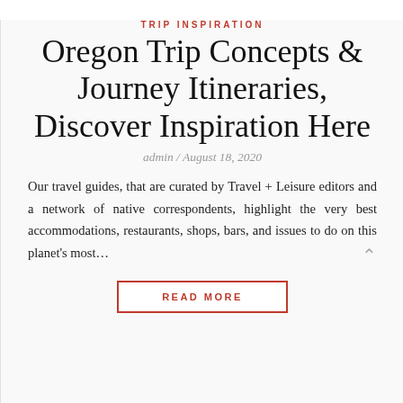TRIP INSPIRATION
Oregon Trip Concepts & Journey Itineraries, Discover Inspiration Here
admin / August 18, 2020
Our travel guides, that are curated by Travel + Leisure editors and a network of native correspondents, highlight the very best accommodations, restaurants, shops, bars, and issues to do on this planet's most…
READ MORE